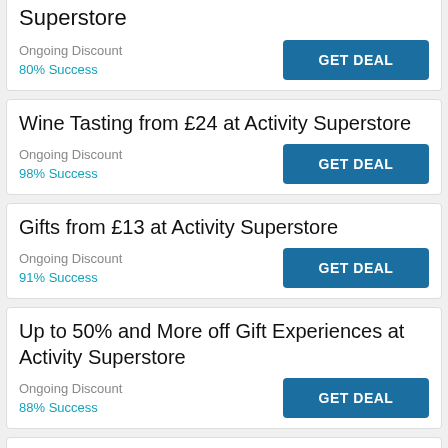Superstore
Ongoing Discount
80% Success
Wine Tasting from £24 at Activity Superstore
Ongoing Discount
98% Success
Gifts from £13 at Activity Superstore
Ongoing Discount
91% Success
Up to 50% and More off Gift Experiences at Activity Superstore
Ongoing Discount
88% Success
Free Standard Delivery Service at Activity Superstore